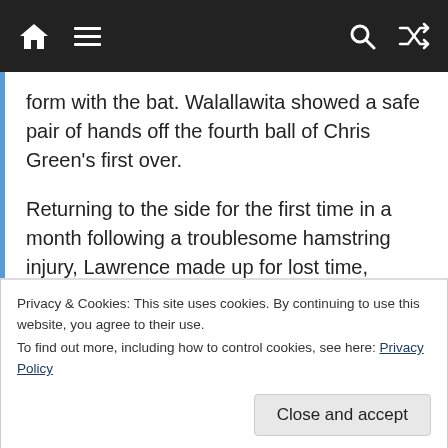Navigation bar with home, menu, search, and shuffle icons
form with the bat. Walallawita showed a safe pair of hands off the fourth ball of Chris Green's first over.
Returning to the side for the first time in a month following a troublesome hamstring injury, Lawrence made up for lost time, scoring 51 off 34 balls before Green claimed his second wicket. His fifth-wicket stand with Westley gleaned 84 runs.
Westley's fifty came about in the final over, just
Privacy & Cookies: This site uses cookies. By continuing to use this website, you agree to their use.
To find out more, including how to control cookies, see here: Privacy Policy
Close and accept